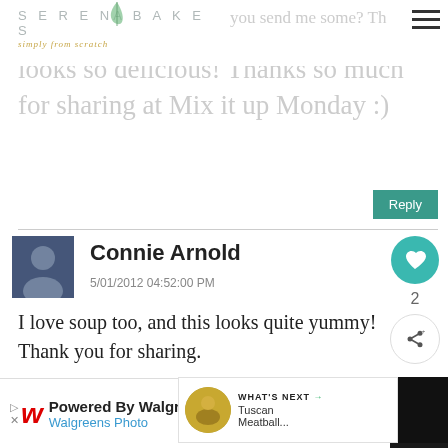SERENA BAKES simply from scratch
…you send me some? The looks so delicious! Thanks so much for sharing at Mix it up Monday :)
Reply
Connie Arnold
5/01/2012 04:52:00 PM
I love soup too, and this looks quite yummy! Thank you for sharing.
[Figure (screenshot): What's Next widget showing Tuscan Meatball... thumbnail]
[Figure (screenshot): Walgreens Photo advertisement banner at bottom of page]